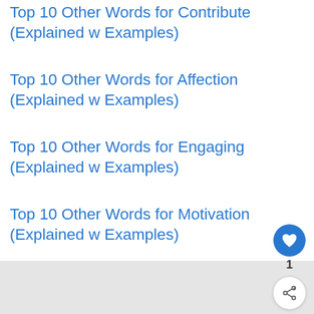Top 10 Other Words for Contribute (Explained w Examples)
Top 10 Other Words for Affection (Explained w Examples)
Top 10 Other Words for Engaging (Explained w Examples)
Top 10 Other Words for Motivation (Explained w Examples)
Top 10 Other Words for Enthusiastic (Explained w Examples)
[Figure (screenshot): UI elements: heart/like button (blue circle with heart icon), count '1', share button (white circle with share icon), and 'WHAT'S NEXT' banner with thumbnail and text '15+ Slang Words For A...']